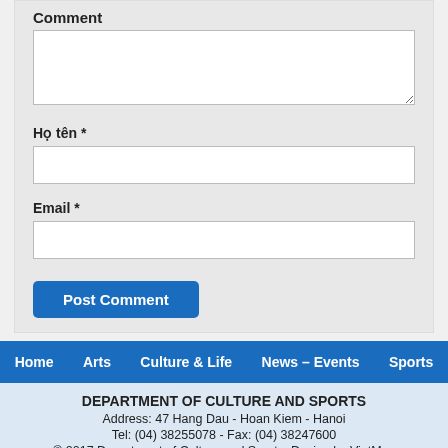Comment
Họ tên *
Email *
Post Comment
Home   Arts   Culture & Life   News – Events   Sports
DEPARTMENT OF CULTURE AND SPORTS
Address: 47 Hang Dau - Hoan Kiem - Hanoi
Tel: (04) 38255078 - Fax: (04) 38247600
© 2017 Department of Culture and Sports. Design by VietMoz